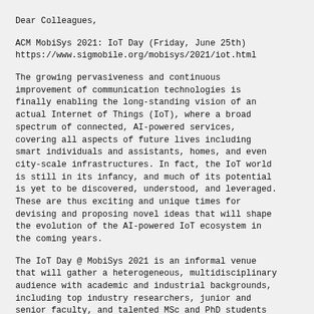Dear Colleagues,
ACM MobiSys 2021: IoT Day (Friday, June 25th)
https://www.sigmobile.org/mobisys/2021/iot.html
The growing pervasiveness and continuous improvement of communication technologies is finally enabling the long-standing vision of an actual Internet of Things (IoT), where a broad spectrum of connected, AI-powered services, covering all aspects of future lives including smart individuals and assistants, homes, and even city-scale infrastructures. In fact, the IoT world is still in its infancy, and much of its potential is yet to be discovered, understood, and leveraged. These are thus exciting and unique times for devising and proposing novel ideas that will shape the evolution of the AI-powered IoT ecosystem in the coming years.
The IoT Day @ MobiSys 2021 is an informal venue that will gather a heterogeneous, multidisciplinary audience with academic and industrial backgrounds, including top industry researchers, junior and senior faculty, and talented MSc and PhD students from around the globe.